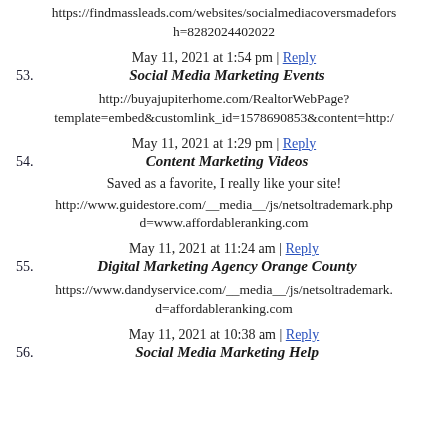https://findmassleads.com/websites/socialmediacoversmadefors h=8282024402022
May 11, 2021 at 1:54 pm | Reply
53. Social Media Marketing Events
http://buyajupiterhome.com/RealtorWebPage? template=embed&customlink_id=1578690853&content=http:/
May 11, 2021 at 1:29 pm | Reply
54. Content Marketing Videos
Saved as a favorite, I really like your site!
http://www.guidestore.com/__media__/js/netsoltrademark.php d=www.affordableranking.com
May 11, 2021 at 11:24 am | Reply
55. Digital Marketing Agency Orange County
https://www.dandyservice.com/__media__/js/netsoltrademark. d=affordableranking.com
May 11, 2021 at 10:38 am | Reply
56. Social Media Marketing Help